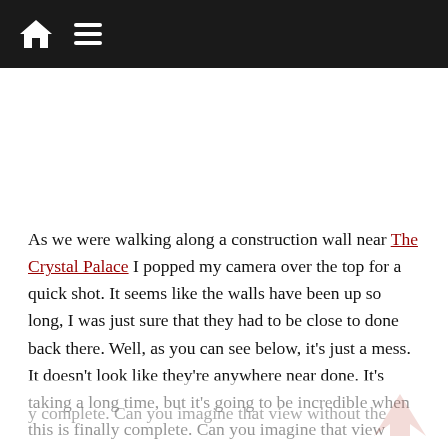[Navigation bar with home icon and menu icon]
As we were walking along a construction wall near The Crystal Palace I popped my camera over the top for a quick shot. It seems like the walls have been up so long, I was just sure that they had to be close to done back there. Well, as you can see below, it’s just a mess. It doesn’t look like they’re anywhere near done. It’s taking a long time, but it’s going to be incredible when this is finally complete. Can you imagine that view without the walls? I can’t wait!